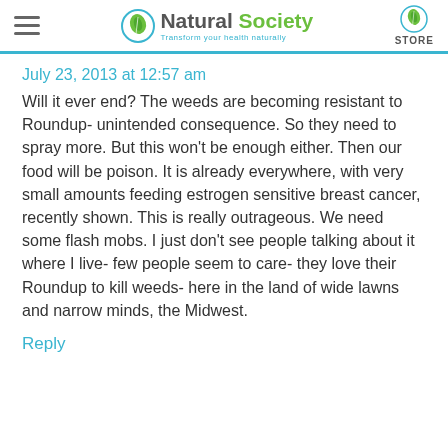Natural Society — Transform your health naturally | STORE
July 23, 2013 at 12:57 am
Will it ever end? The weeds are becoming resistant to Roundup- unintended consequence. So they need to spray more. But this won't be enough either. Then our food will be poison. It is already everywhere, with very small amounts feeding estrogen sensitive breast cancer, recently shown. This is really outrageous. We need some flash mobs. I just don't see people talking about it where I live- few people seem to care- they love their Roundup to kill weeds- here in the land of wide lawns and narrow minds, the Midwest.
Reply